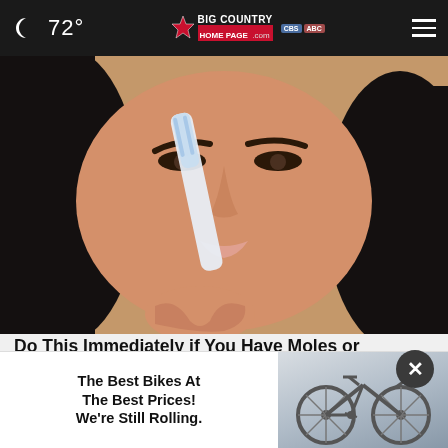🌙 72° | Big Country Homepage.com | CBS ABC
[Figure (photo): Woman with dark hair applying a toothbrush to her nose, close-up beauty/skincare demonstration photo]
Do This Immediately if You Have Moles or Skin Tags, It's Genius
Smart Life Reports
[Figure (photo): Advertisement banner: The Best Bikes At The Best Prices! We're Still Rolling. Shows bicycle image on right side.]